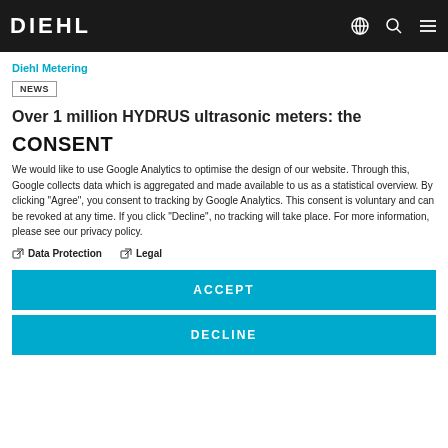DIEHL
Diehl Metering
NEWS
Over 1 million HYDRUS ultrasonic meters: the
CONSENT
We would like to use Google Analytics to optimise the design of our website. Through this, Google collects data which is aggregated and made available to us as a statistical overview. By clicking "Agree", you consent to tracking by Google Analytics. This consent is voluntary and can be revoked at any time. If you click "Decline", no tracking will take place. For more information, please see our privacy policy.
Data Protection
Legal
ACCEPT
DECLINE